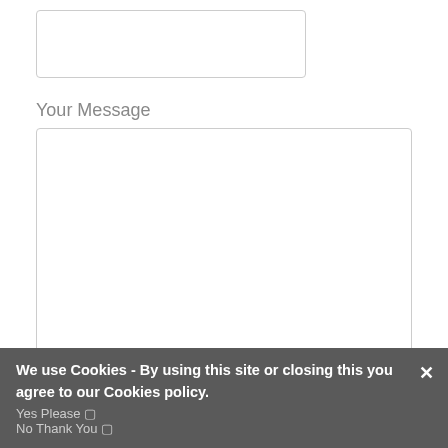[Figure (other): Text input field (empty)]
Your Message
[Figure (other): Large textarea input field (empty)]
Would you like to receive our newsletter? (Contains self-development articles, news, special offers - you can opt out at any time)
Yes Please
No Thank You
We use Cookies - By using this site or closing this you agree to our Cookies policy.